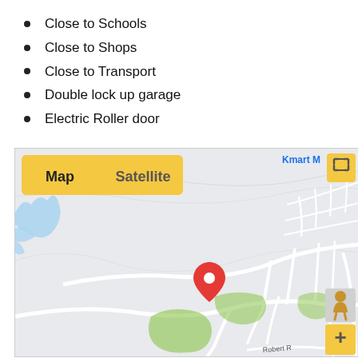Close to Schools
Close to Shops
Close to Transport
Double lock up garage
Electric Roller door
[Figure (map): Google Maps view showing a location pin in a suburban/semi-rural area. Map/Satellite toggle buttons visible at top-left. Kmart M label at top-right. Street view person icon and zoom plus button at right side. Road labeled Robert R visible at bottom. Green parkland areas and white road network visible.]